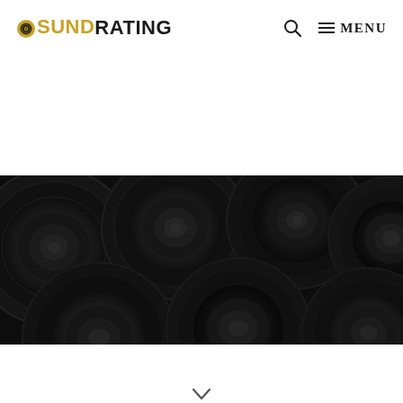SOUNDRATING — Search — Menu
[Figure (photo): Dark background photo showing multiple speaker drivers arranged in rows, viewed from the front, with circular speaker cones visible in a dark, moody lighting.]
chevron down arrow indicator